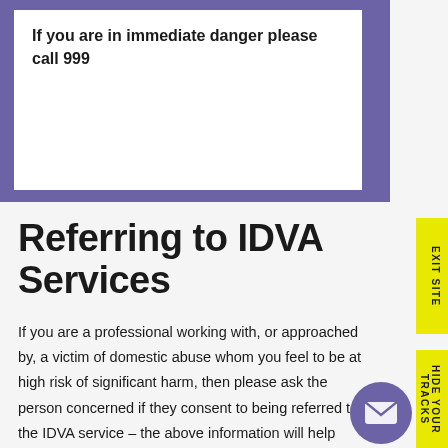If you are in immediate danger please call 999
Referring to IDVA Services
If you are a professional working with, or approached by, a victim of domestic abuse whom you feel to be at high risk of significant harm, then please ask the person concerned if they consent to being referred to the IDVA service – the above information will help you to explain what we do.